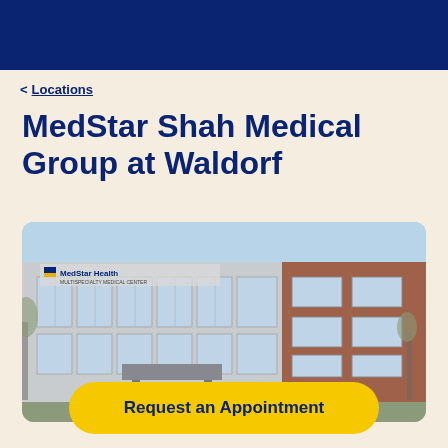< Locations
MedStar Shah Medical Group at Waldorf
[Figure (photo): Exterior photo of MedStar Health building at Waldorf — a modern two-story structure with gray and brick facade, large grid windows, MedStar Health signage, and a blue sky background]
Request an Appointment